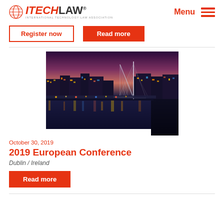[Figure (logo): ITechLaw International Technology Law Association logo with globe icon]
Menu
Register now
Read more
[Figure (photo): Night cityscape of Dublin, Ireland with reflections on the River Liffey and the Samuel Beckett Bridge visible]
October 30, 2019
2019 European Conference
Dublin / Ireland
Read more